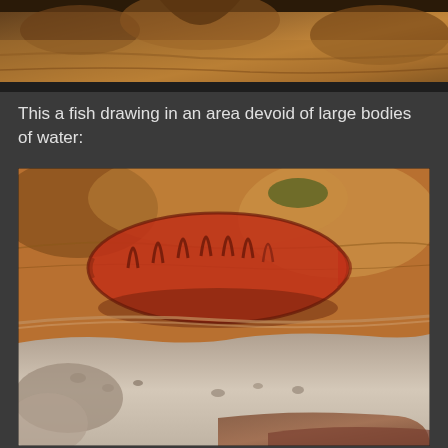[Figure (photo): Cave interior photograph showing rock formations with warm orange and brown tones, partial view at top of page]
This a fish drawing in an area devoid of large bodies of water:
[Figure (photo): Cave rock art photograph showing a red-painted fish drawing on a rocky cave surface. The fish is depicted in red/dark red pigment showing an oval body with internal stripe markings. The cave rock surface is orange-brown and tan colored with a white limestone ledge at the bottom.]